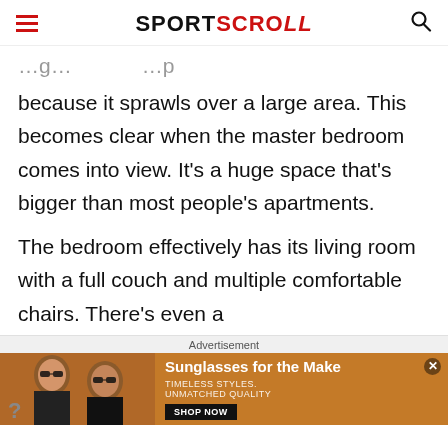SPORTSCROLL
because it sprawls over a large area. This becomes clear when the master bedroom comes into view. It’s a huge space that’s bigger than most people’s apartments.

The bedroom effectively has its living room with a full couch and multiple comfortable chairs. There’s even a
Advertisement
[Figure (photo): Advertisement banner showing two women wearing sunglasses with text 'Sunglasses for the Make' and 'TIMELESS STYLES. UNMATCHED QUALITY' and a 'SHOP NOW' button on a brown/orange background.]